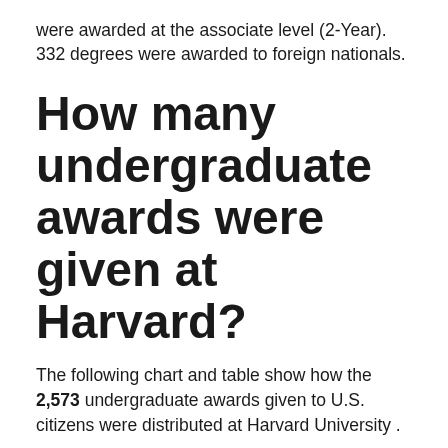were awarded at the associate level (2-Year). 332 degrees were awarded to foreign nationals.
How many undergraduate awards were given at Harvard?
The following chart and table show how the 2,573 undergraduate awards given to U.S. citizens were distributed at Harvard University .
How many college